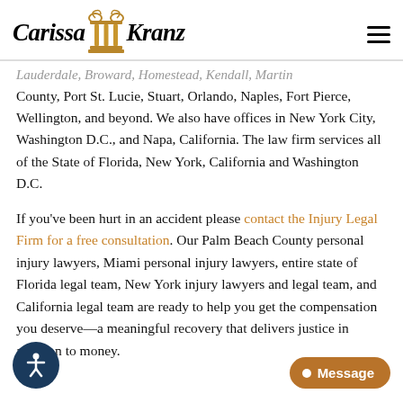Carissa Kranz
Lauderdale, Broward, Homestead, Kendall, Martin County, Port St. Lucie, Stuart, Orlando, Naples, Fort Pierce, Wellington, and beyond. We also have offices in New York City, Washington D.C., and Napa, California. The law firm services all of the State of Florida, New York, California and Washington D.C.
If you've been hurt in an accident please contact the Injury Legal Firm for a free consultation. Our Palm Beach County personal injury lawyers, Miami personal injury lawyers, entire state of Florida legal team, New York injury lawyers and legal team, and California legal team are ready to help you get the compensation you deserve—a meaningful recovery that delivers justice in addition to money.